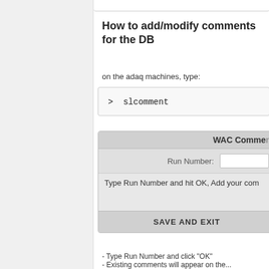How to add/modify comments for the DB
on the adaq machines, type:
> slcomment
[Figure (screenshot): WAC Comment dialog box with Run Number field and SAVE AND EXIT button. Shows 'Type Run Number and hit OK, Add your com...' instructional text.]
- Type Run Number and click "OK"
- Existing comments will appear on the...